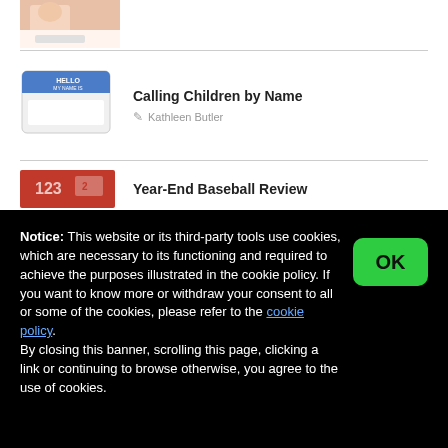[Figure (photo): Partial view of a child writing or drawing, cropped at top]
[Figure (photo): Hello My Name Is name tag badge in blue and white]
Calling Children by Name
Kathleen Butler
[Figure (photo): Red baseball-themed items with numbers]
Year-End Baseball Review
Notice: This website or its third-party tools use cookies, which are necessary to its functioning and required to achieve the purposes illustrated in the cookie policy. If you want to know more or withdraw your consent to all or some of the cookies, please refer to the cookie policy. By closing this banner, scrolling this page, clicking a link or continuing to browse otherwise, you agree to the use of cookies.